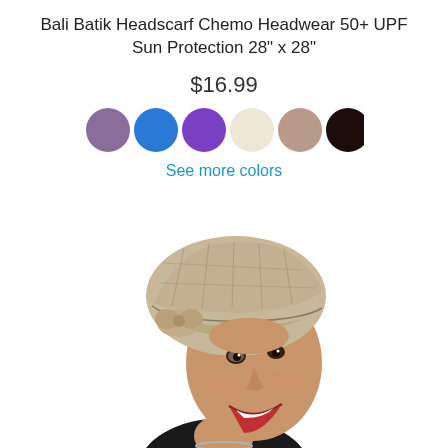Bali Batik Headscarf Chemo Headwear 50+ UPF Sun Protection 28" x 28"
$16.99
[Figure (illustration): Six circular color swatches: muted purple, bright blue, vivid purple, cream/ivory, taupe/mauve, dark brown/black]
See more colors
[Figure (photo): A smiling woman wearing a beige/khaki quilted chemo cap with a brim and side bow detail, against a white background]